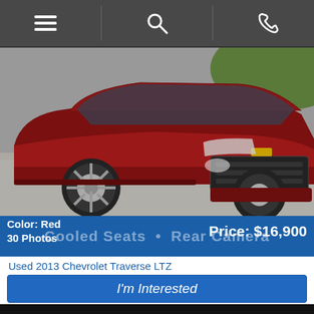Navigation bar with menu, search, and phone icons
[Figure (photo): Red 2013 Chevrolet Traverse LTZ SUV photographed from the front-left angle on a driveway]
Color: Red
30 Photos
Cooled Seats · Rear Camera
Price: $16,900
Used 2013 Chevrolet Traverse LTZ
I'm Interested
Vehicle Details
Terre Haute Auto — WHERE WE BACK 'EM BUY & SELL 'EM CHEAP — Stock #102187 — 812-994-365 — terrehauteautoonline.com
Directions | Hours | Favorites